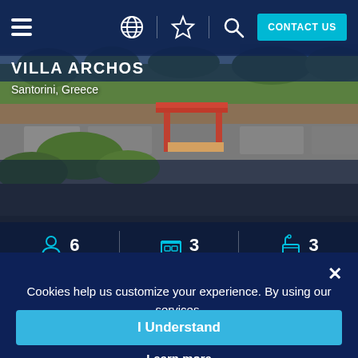[Figure (screenshot): Mobile website screenshot of Villa Archos in Santorini, Greece. Shows navigation bar with hamburger menu, globe icon, star icon, search icon, and teal 'CONTACT US' button. Below is a property photo of a villa garden. Stats bar shows 6 guests, 3 bedrooms, 3 bathrooms.]
VILLA ARCHOS
Santorini, Greece
6
3
3
Cookies help us customize your experience. By using our services, you agree to our use of cookies.
I Understand
Learn more